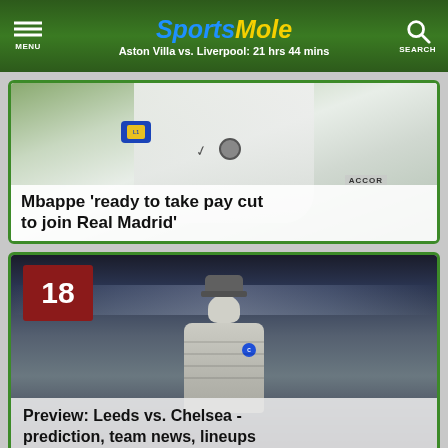SportsMole — Aston Villa vs. Liverpool: 21 hrs 44 mins
[Figure (photo): Football player in white PSG kit with Ligue 1 armband, holding a ball, with ACCOR watermark. Headline overlay: Mbappe 'ready to take pay cut to join Real Madrid']
Mbappe 'ready to take pay cut to join Real Madrid'
[Figure (photo): Chelsea manager Thomas Tuchel in grey puffer jacket and cap standing on pitch with stadium lights in background. Number badge 18 in red top left. Headline overlay: Preview: Leeds vs. Chelsea - prediction, team news, lineups]
Preview: Leeds vs. Chelsea - prediction, team news, lineups